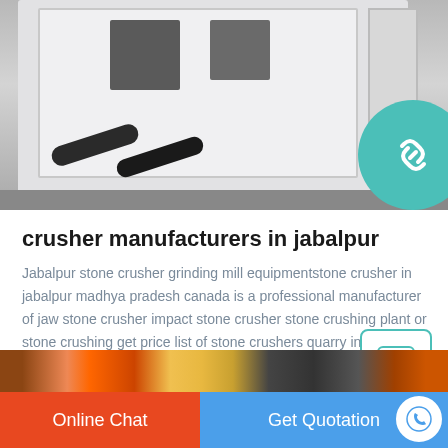[Figure (photo): Photo of white industrial stone crusher machine in a factory setting]
crusher manufacturers in jabalpur
Jabalpur stone crusher grinding mill equipmentstone crusher in jabalpur madhya pradesh canada is a professional manufacturer of jaw stone crusher impact stone crusher stone crushing plant or stone crushing get price list of stone crushers quarry in bhopalstone crusher in jabalpur wikipedia quarry crusher creative crusher jabalpur.
[Figure (photo): Photo of red and yellow industrial machinery wheels/rollers]
Online Chat
Get Quotation